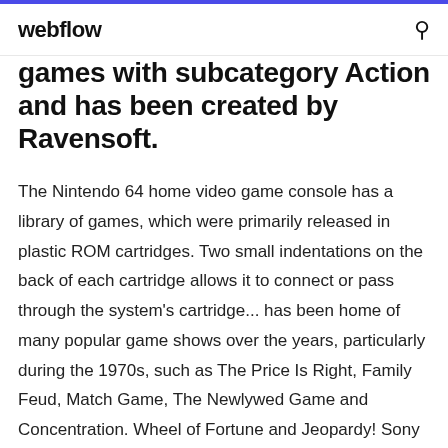webflow
games with subcategory Action and has been created by Ravensoft.
The Nintendo 64 home video game console has a library of games, which were primarily released in plastic ROM cartridges. Two small indentations on the back of each cartridge allows it to connect or pass through the system's cartridge... has been home of many popular game shows over the years, particularly during the 1970s, such as The Price Is Right, Family Feud, Match Game, The Newlywed Game and Concentration. Wheel of Fortune and Jeopardy! Sony is the third-largest